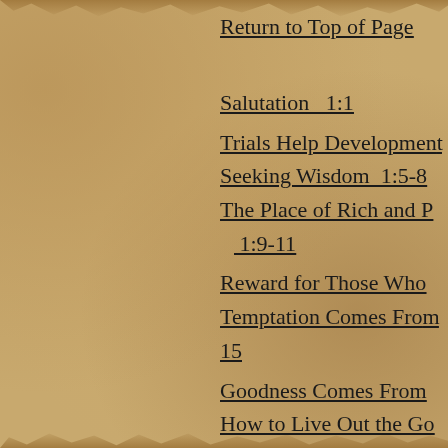Return to Top of Page
Salutation  1:1
Trials Help Development
Seeking Wisdom  1:5-8
The Place of Rich and P... 1:9-11
Reward for Those Who ...
Temptation Comes From... 15
Goodness Comes From ...
How to Live Out the Go... 1:19-21